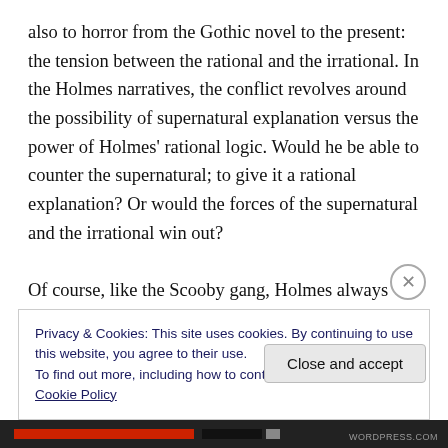also to horror from the Gothic novel to the present: the tension between the rational and the irrational. In the Holmes narratives, the conflict revolves around the possibility of supernatural explanation versus the power of Holmes' rational logic. Would he be able to counter the supernatural; to give it a rational explanation? Or would the forces of the supernatural and the irrational win out?

Of course, like the Scooby gang, Holmes always finds a rational explanation; as does the detective in The Beast With Five Fingers. But in other narratives, the supernatural
Privacy & Cookies: This site uses cookies. By continuing to use this website, you agree to their use.
To find out more, including how to control cookies, see here: Cookie Policy